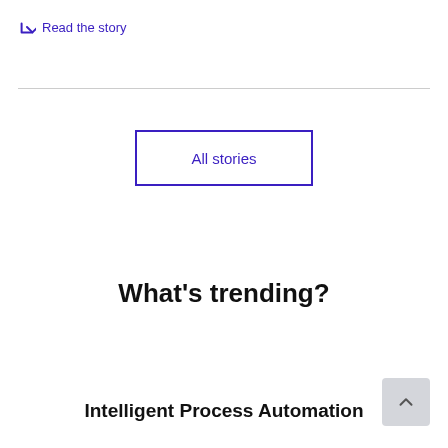↳ Read the story
All stories
What's trending?
Intelligent Process Automation